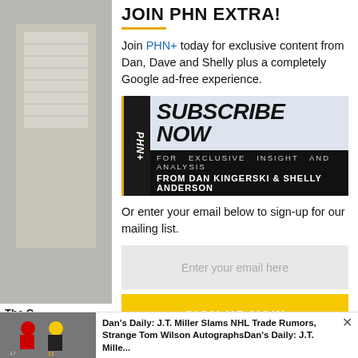JOIN PHN EXTRA!
Join PHN+ today for exclusive content from Dan, Dave and Shelly plus a completely Google ad-free experience.
[Figure (infographic): PHN+ Subscribe Now banner — black and blue-grey background with bold italic white text reading 'SUBSCRIBE NOW' and smaller text 'FOR EXCLUSIVE INSIGHT AND ANALYSIS FROM DAN KINGERSKI & SHELLY ANDERSON', with PHN+ badge on left side]
Or enter your email below to sign-up for our mailing list.
Enter your email here
SIGN UP NOW
Dan's Daily: J.T. Miller Slams NHL Trade Rumors, Strange Tom Wilson AutographsDan's Daily: J.T. Mille...